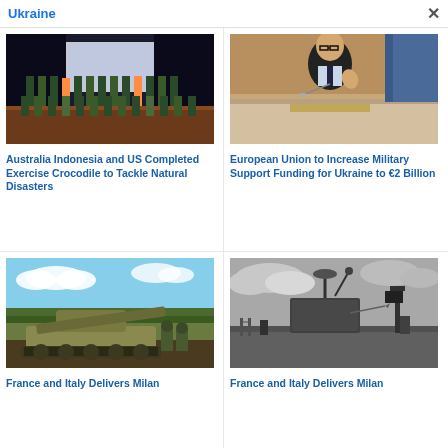Ukraine
[Figure (photo): Group photo of military personnel from Australia, Indonesia and US in a gymnasium]
Australia Indonesia and US Completed Exercise Crocodile to Tackle Natural Disasters
[Figure (photo): European Union official speaking at a podium with microphone]
European Union to Increase Military Support Funding for Ukraine to €2 Billion
[Figure (photo): Military tank with large cannon barrel in outdoor setting]
France and Italy Delivers Milan
[Figure (photo): Radar or missile defense system in black and white photo]